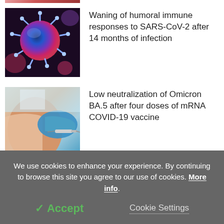[Figure (photo): Microscopic image of SARS-CoV-2 virus particles, blue spiky virus on dark pink/purple background]
Waning of humoral immune responses to SARS-CoV-2 after 14 months of infection
[Figure (photo): Person receiving a vaccine injection in the arm from a healthcare worker wearing blue gloves]
Low neutralization of Omicron BA.5 after four doses of mRNA COVID-19 vaccine
[Figure (photo): Natural plant/algae product, green background]
Review of natural products with
We use cookies to enhance your experience. By continuing to browse this site you agree to our use of cookies. More info.
✓ Accept
Cookie Settings